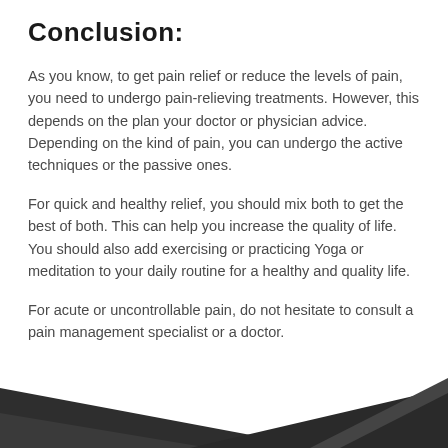Conclusion:
As you know, to get pain relief or reduce the levels of pain, you need to undergo pain-relieving treatments. However, this depends on the plan your doctor or physician advice. Depending on the kind of pain, you can undergo the active techniques or the passive ones.
For quick and healthy relief, you should mix both to get the best of both. This can help you increase the quality of life. You should also add exercising or practicing Yoga or meditation to your daily routine for a healthy and quality life.
For acute or uncontrollable pain, do not hesitate to consult a pain management specialist or a doctor.
[Figure (illustration): Dark grey/charcoal diagonal angular shapes forming a decorative footer graphic at the bottom of the page]